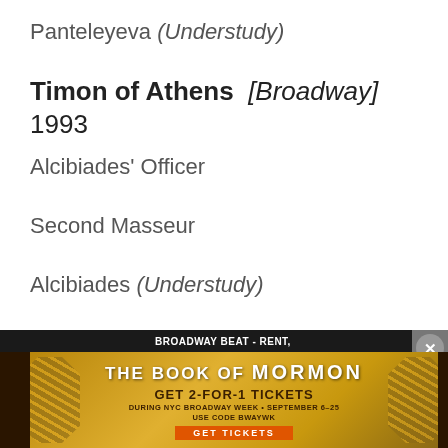Panteleyeva (Understudy)
Timon of Athens [Broadway] 1993
Alcibiades' Officer
Second Masseur
Alcibiades (Understudy)
[Figure (infographic): Advertisement banner for The Book of Mormon musical offering GET 2-FOR-1 TICKETS during NYC Broadway Week September 6-25, use code BWAYWK. Above the banner is a black bar reading BROADWAY BEAT - RENT, with a close button.]